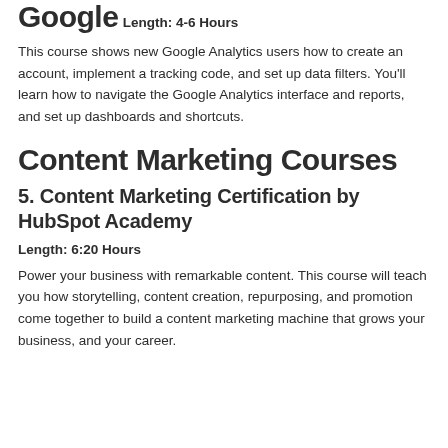Google
Length: 4-6 Hours
This course shows new Google Analytics users how to create an account, implement a tracking code, and set up data filters. You'll learn how to navigate the Google Analytics interface and reports, and set up dashboards and shortcuts.
Content Marketing Courses
5. Content Marketing Certification by HubSpot Academy
Length: 6:20 Hours
Power your business with remarkable content. This course will teach you how storytelling, content creation, repurposing, and promotion come together to build a content marketing machine that grows your business, and your career.